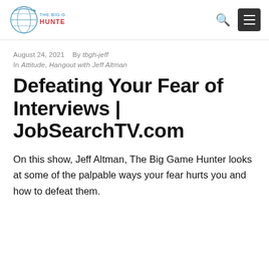[Figure (logo): The Big Game Hunter logo — circular globe graphic with text 'THE BIG GAME HUNTER' in blue/red]
August 24, 2021   By tbgh-jeff
In Attitude, Hangout with Jeff Altman
Defeating Your Fear of Interviews | JobSearchTV.com
On this show, Jeff Altman, The Big Game Hunter looks at some of the palpable ways your fear hurts you and how to defeat them.